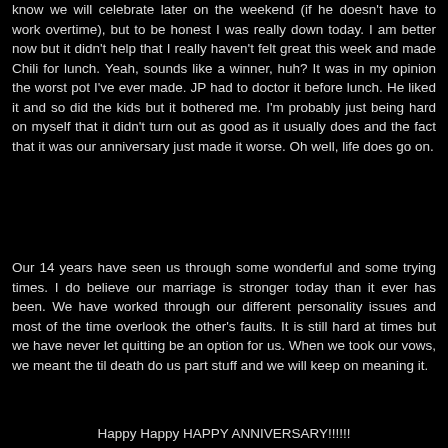know we will celebrate later on the weekend (if he doesn't have to work overtime), but to be honest I was really down today. I am better now but it didn't help that I really haven't felt great this week and made Chili for lunch. Yeah, sounds like a winner, huh? It was in my opinion the worst pot I've ever made. JP had to doctor it before lunch. He liked it and so did the kids but it bothered me. I'm probably just being hard on myself that it didn't turn out as good as it usually does and the fact that it was our anniversary just made it worse. Oh well, life does go on.
Our 14 years have seen us through some wonderful and some trying times. I do believe our marriage is stronger today than it ever has been. We have worked through our different personality issues and most of the time overlook the other's faults. It is still hard at times but we have never let quitting be an option for us. When we took our vows, we meant the til death do us part stuff and we will keep on meaning it.
Happy Happy HAPPY ANNIVERSARY!!!!!!